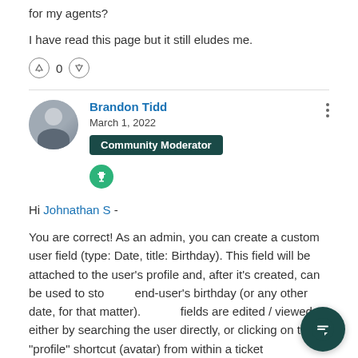for my agents?
I have read this page but it still eludes me.
↑ 0 ↓
Brandon Tidd
March 1, 2022
Community Moderator
Hi Johnathan S -
You are correct!  As an admin, you can create a custom user field (type: Date, title: Birthday).  This field will be attached to the user's profile and, after it's created, can be used to store an end-user's birthday (or any other date, for that matter).  These fields are edited / viewed either by searching the user directly, or clicking on the "profile" shortcut (avatar) from within a ticket.